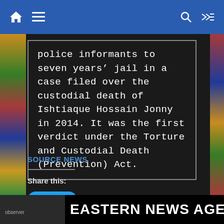Navigation bar with home, menu, search, and shuffle icons
police informants to seven years' jail in a case filed over the custodial death of Ishtiaque Hossain Jonny in 2014. It was the first verdict under the Torture and Custodial Death (Prevention) Act.
SOURCE NEWS
Share this:
Tweet
You May Also Like
EASTERN NEWS AGE